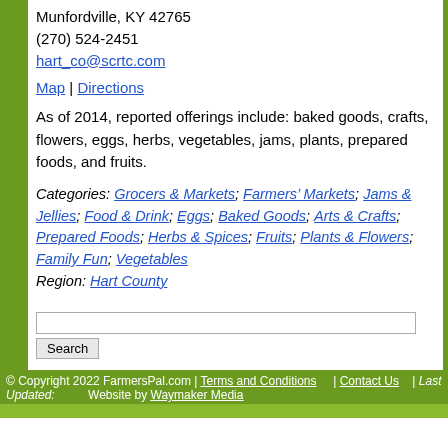Munfordville, KY 42765
(270) 524-2451
hart_co@scrtc.com
Map | Directions
As of 2014, reported offerings include: baked goods, crafts, flowers, eggs, herbs, vegetables, jams, plants, prepared foods, and fruits.
Categories: Grocers & Markets; Farmers' Markets; Jams & Jellies; Food & Drink; Eggs; Baked Goods; Arts & Crafts; Prepared Foods; Herbs & Spices; Fruits; Plants & Flowers; Family Fun; Vegetables
Region: Hart County
© Copyright 2022 FarmersPal.com | Terms and Conditions | Contact Us | Last Updated: Website by Waymaker Media